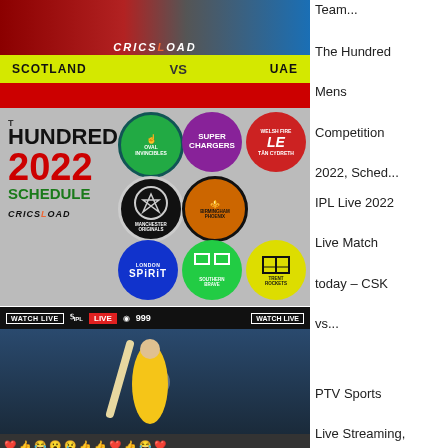[Figure (photo): Scotland vs UAE cricket match promo image with CRICSLOAD logo and yellow bar]
[Figure (infographic): The Hundred 2022 Schedule infographic with team logos including Oval Invincibles, Super Chargers, Welsh Fire, Manchester Originals, Birmingham Phoenix, London Spirit, Southern Brave, Trent Rockets]
The Hundred Mens Competition 2022, Sched...
[Figure (screenshot): IPL Live 2022 Facebook live stream screenshot showing cricket player with bat, LIVE badge, 999 viewers, reaction emojis]
IPL Live 2022 Live Match today – CSK vs...
[Figure (photo): PTV Sports Live Streaming partial image with red circular element]
PTV Sports Live Streaming,